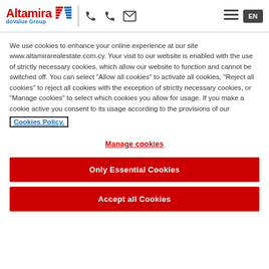Altamira doValue Group — EN
We use cookies to enhance your online experience at our site www.altamirarealestate.com.cy. Your visit to our website is enabled with the use of strictly necessary cookies, which allow our website to function and cannot be switched off. You can select "Allow all cookies" to activate all cookies, "Reject all cookies" to reject all cookies with the exception of strictly necessary cookies, or "Manage cookies" to select which cookies you allow for usage. If you make a cookie active you consent to its usage according to the provisions of our Cookies Policy.
Manage cookies
Only Essential Cookies
Accept all Cookies